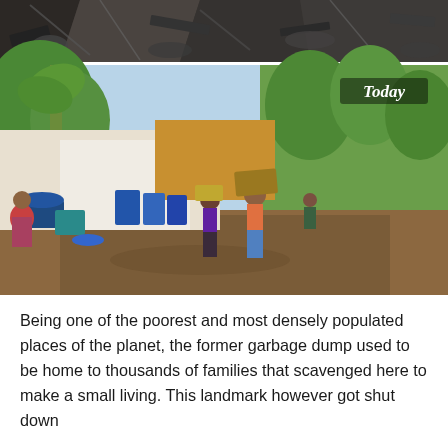[Figure (photo): Two stacked photographs. Top: a dark image of rubble, debris, and destroyed structures. Bottom (labeled 'Today'): People walking along a dirt road beside makeshift shelters and blue barrels, with green trees and vegetation visible. A woman in a red top stands by a large blue barrel on the left. People carry loads on their heads and walk down the path.]
Being one of the poorest and most densely populated places of the planet, the former garbage dump used to be home to thousands of families that scavenged here to make a small living. This landmark however got shut down